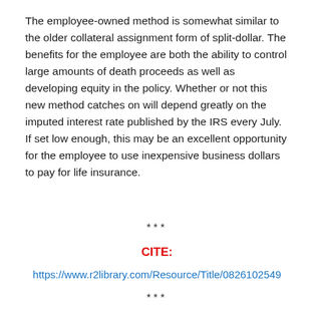The employee-owned method is somewhat similar to the older collateral assignment form of split-dollar. The benefits for the employee are both the ability to control large amounts of death proceeds as well as developing equity in the policy. Whether or not this new method catches on will depend greatly on the imputed interest rate published by the IRS every July. If set low enough, this may be an excellent opportunity for the employee to use inexpensive business dollars to pay for life insurance.
***
CITE:
https://www.r2library.com/Resource/Title/0826102549
***